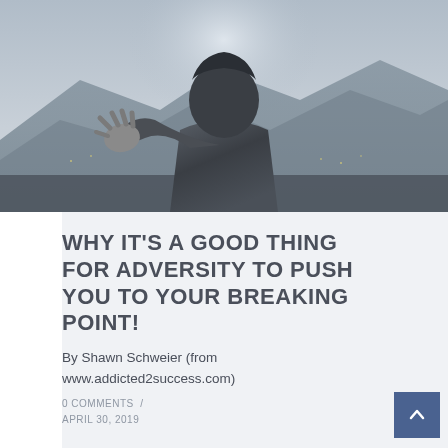[Figure (photo): A person in a hoodie reaching their hand toward the camera, with a blurred outdoor/mountain background. Dark and moody atmosphere.]
WHY IT'S A GOOD THING FOR ADVERSITY TO PUSH YOU TO YOUR BREAKING POINT!
0 COMMENTS / APRIL 30, 2019
By Shawn Schweier (from www.addicted2success.com)
If you are not finding...